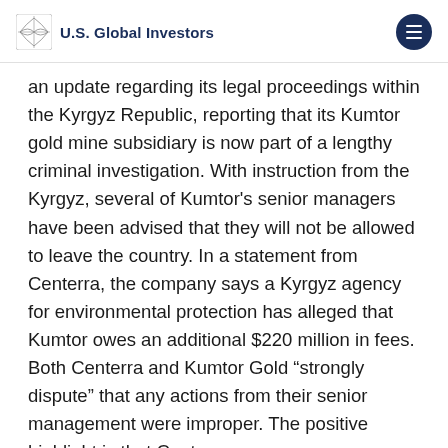U.S. Global Investors
an update regarding its legal proceedings within the Kyrgyz Republic, reporting that its Kumtor gold mine subsidiary is now part of a lengthy criminal investigation. With instruction from the Kyrgyz, several of Kumtor's senior managers have been advised that they will not be allowed to leave the country. In a statement from Centerra, the company says a Kyrgyz agency for environmental protection has alleged that Kumtor owes an additional $220 million in fees. Both Centerra and Kumtor Gold “strongly dispute” that any actions from their senior management were improper. The positive highlight is that Centerra